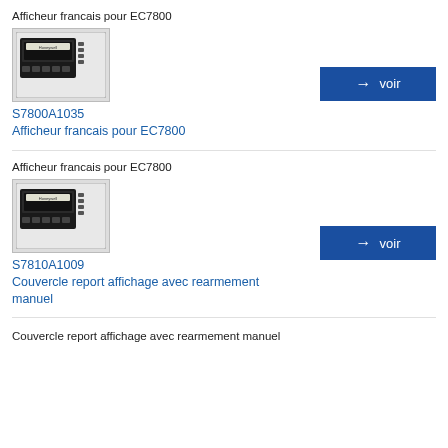Afficheur francais pour EC7800
[Figure (photo): Photo of Honeywell EC7800 display unit, black device with connectors]
S7800A1035
Afficheur francais pour EC7800
Afficheur francais pour EC7800
[Figure (photo): Photo of Honeywell EC7800 display unit, black device with connectors]
S7810A1009
Couvercle report affichage avec rearmement manuel
Couvercle report affichage avec rearmement manuel